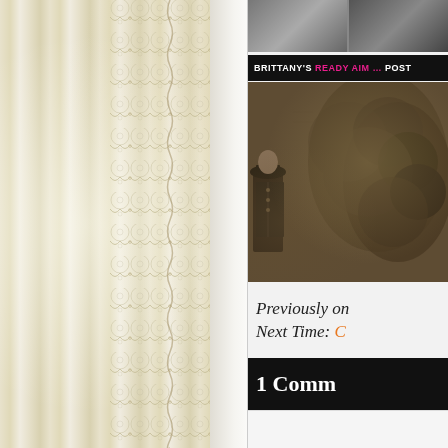[Figure (photo): Close-up photograph of cream/ivory lace fabric with scalloped edges alongside white sheer fabric, occupying the left portion of the page]
[Figure (photo): Small greyscale thumbnail images at the top of the right panel]
BRITTANY'S READY AIM … POST
[Figure (photo): Sepia-toned historical photograph showing a uniformed officer standing near dense foliage/hedges]
Previously on
Next Time: C
1 Comm